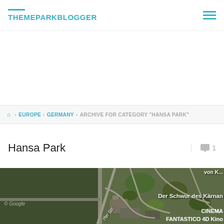THEMEPARKBLOGGER
🏠 > EUROPE > GERMANY > ARCHIVE FOR CATEGORY "HANSA PARK"
Hansa Park
[Figure (map): Aerial satellite map view of Hansa Park showing park layout with labels: Der Schwur des Kärnan, CINEMA FANTASTICO 4D Kino, von [truncated], rfer Str., © Google]